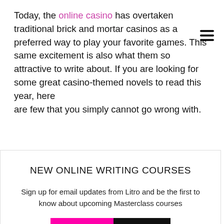Today, the online casino has overtaken traditional brick and mortar casinos as a preferred way to play your favorite games. This same excitement is also what them so attractive to write about. If you are looking for some great casino-themed novels to read this year, here are few that you simply cannot go wrong with.
NEW ONLINE WRITING COURSES
Sign up for email updates from Litro and be the first to know about upcoming Masterclass courses
put them over the top.